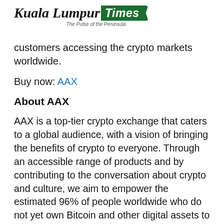Kuala Lumpur Times — The Pulse of the Peninsula
customers accessing the crypto markets worldwide.
Buy now: AAX
About AAX
AAX is a top-tier crypto exchange that caters to a global audience, with a vision of bringing the benefits of crypto to everyone. Through an accessible range of products and by contributing to the conversation about crypto and culture, we aim to empower the estimated 96% of people worldwide who do not yet own Bitcoin and other digital assets to build better and more inclusive economies.
Favored by more than two million users in over 160 countries, AAX is the first exchange to use the